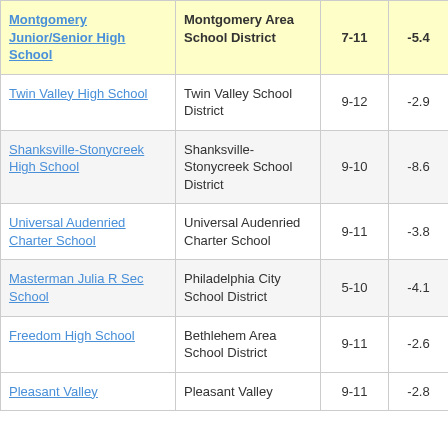| School | District | Grades | Score | ... |
| --- | --- | --- | --- | --- |
| Montgomery Junior/Senior High School | Montgomery Area School District | 7-11 | -5.4 | 3 |
| Twin Valley High School | Twin Valley School District | 9-12 | -2.9 |  |
| Shanksville-Stonycreek High School | Shanksville-Stonycreek School District | 9-10 | -8.6 | 5 |
| Universal Audenried Charter School | Universal Audenried Charter School | 9-11 | -3.8 |  |
| Masterman Julia R Sec School | Philadelphia City School District | 5-10 | -4.1 |  |
| Freedom High School | Bethlehem Area School District | 9-11 | -2.6 |  |
| Pleasant Valley ... | Pleasant Valley ... | 9-11 | -2.8 |  |